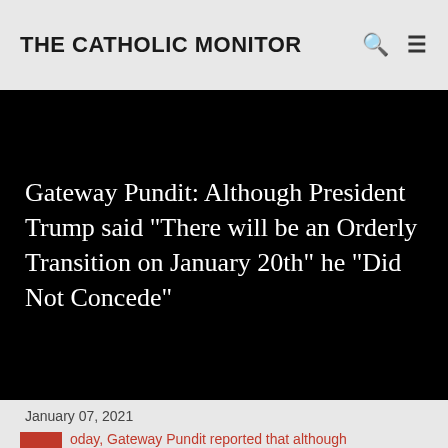THE CATHOLIC MONITOR
Gateway Pundit: Although President Trump said "There will be an Orderly Transition on January 20th" he "Did Not Concede"
January 07, 2021
oday, Gateway Pundit reported that although